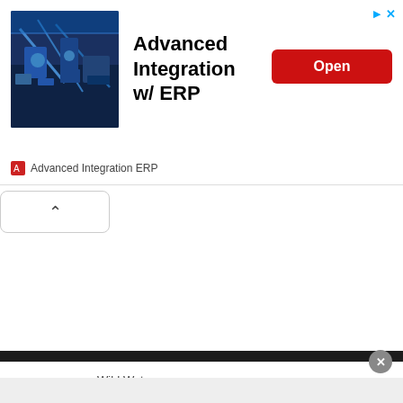[Figure (screenshot): Top advertisement banner for 'Advanced Integration w/ ERP' showing a machinery/industrial image on the left, bold title text in center, and a red 'Open' button on the right. Small advertiser icon and name 'Advanced Integration ERP' at bottom.]
[Figure (screenshot): Collapse/chevron-up button in a rounded rectangle on the left side of the page.]
[Figure (screenshot): Bottom advertisement banner for Wild Water 'Best Fly Fishing Equipment' with play icon, Wild Water logo, brand name, bold title, and black 'Open' button. Close X circle button at top right corner. X icon at bottom left.]